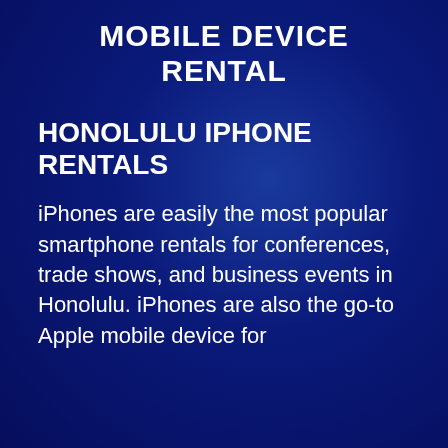MOBILE DEVICE RENTAL
HONOLULU IPHONE RENTALS
iPhones are easily the most popular smartphone rentals for conferences, trade shows, and business events in Honolulu. iPhones are also the go-to Apple mobile device foreferencing...